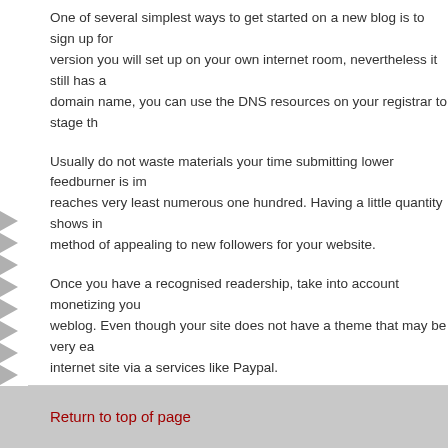One of several simplest ways to get started on a new blog is to sign up for a version you will set up on your own internet room, nevertheless it still has a domain name, you can use the DNS resources on your registrar to stage the
Usually do not waste materials your time submitting lower feedburner is im reaches very least numerous one hundred. Having a little quantity shows in method of appealing to new followers for your website.
Once you have a recognised readership, take into account monetizing your weblog. Even though your site does not have a theme that may be very ea internet site via a services like Paypal.
Try to keep your advertisements to a minimum. You may not would like to coming back to your web site. Whilst you are going to might need some ad
Running a blog is nothing short of an online sensation. The normal motivat advantage of the information and facts within the item you may have just re people.
Return to top of page